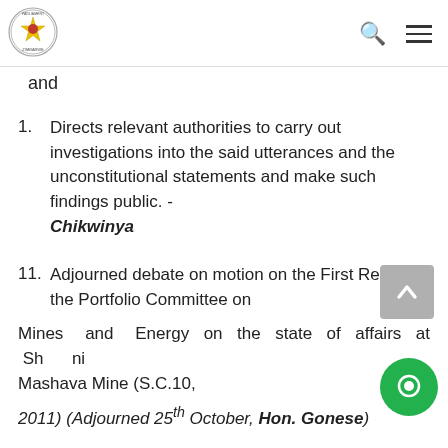and
and
1. Directs relevant authorities to carry out investigations into the said utterances and the unconstitutional statements and make such findings public. - Chikwinya
11. Adjourned debate on motion on the First Report of the Portfolio Committee on
Mines and Energy on the state of affairs at Shabani Mashava Mine (S.C.10,
2011) (Adjourned 25th October, Hon. Gonese)